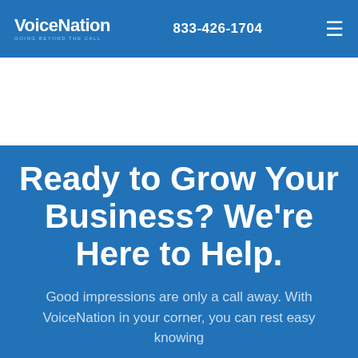VoiceNation GOING BEYOND THE CALL  833-426-1704  ≡
[Figure (other): White section area below header, likely containing an image or hero graphic (shown as blank white in screenshot)]
Ready to Grow Your Business? We're Here to Help.
Good impressions are only a call away. With VoiceNation in your corner, you can rest easy knowing